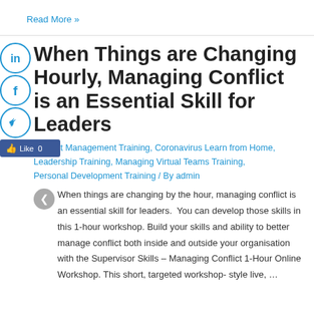Read More »
When Things are Changing Hourly, Managing Conflict is an Essential Skill for Leaders
Conflict Management Training, Coronavirus Learn from Home, Leadership Training, Managing Virtual Teams Training, Personal Development Training / By admin
When things are changing by the hour, managing conflict is an essential skill for leaders.  You can develop those skills in this 1-hour workshop. Build your skills and ability to better manage conflict both inside and outside your organisation with the Supervisor Skills – Managing Conflict 1-Hour Online Workshop. This short, targeted workshop- style live, …